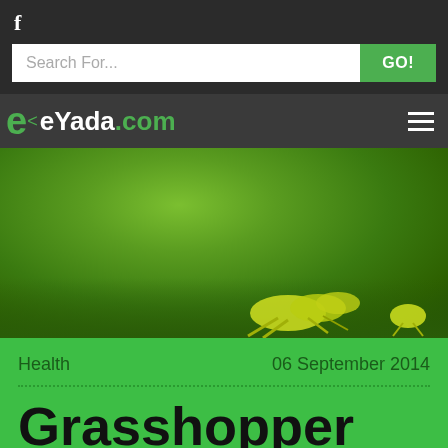[Figure (logo): Facebook icon - white 'f' letter on dark background]
[Figure (screenshot): Search bar with placeholder 'Search For...' and green GO! button]
eYada.com
[Figure (photo): Macro photo of green grasshopper on green background]
Health   06 September 2014
Grasshopper